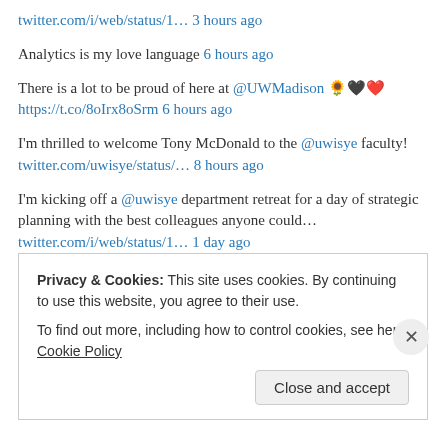twitter.com/i/web/status/1… 3 hours ago
Analytics is my love language 6 hours ago
There is a lot to be proud of here at @UWMadison 🌻🖤❤️ https://t.co/8oIrx8oSrm 6 hours ago
I'm thrilled to welcome Tony McDonald to the @uwisye faculty! twitter.com/uwisye/status/… 8 hours ago
I'm kicking off a @uwisye department retreat for a day of strategic planning with the best colleagues anyone could… twitter.com/i/web/status/1… 1 day ago
RT @INFORMS_WORMS: The WORMS Family Care Award deadline
Privacy & Cookies: This site uses cookies. By continuing to use this website, you agree to their use. To find out more, including how to control cookies, see here: Cookie Policy
Close and accept